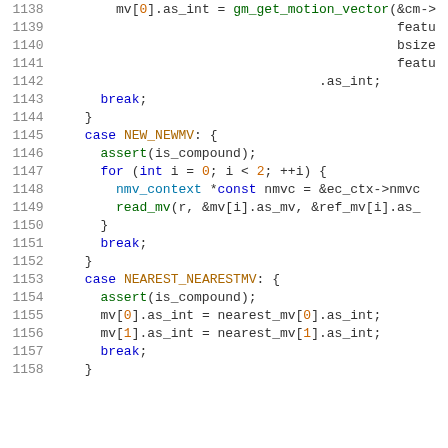Source code listing lines 1138-1158, C/C++ code for motion vector handling
1138: mv[0].as_int = gm_get_motion_vector(&cm->
1139:   featu
1140:   bsize
1141:   featu
1142:   .as_int;
1143:   break;
1144: }
1145: case NEW_NEWMV: {
1146:   assert(is_compound);
1147:   for (int i = 0; i < 2; ++i) {
1148:     nmv_context *const nmvc = &ec_ctx->nmvc
1149:     read_mv(r, &mv[i].as_mv, &ref_mv[i].as_
1150:   }
1151:   break;
1152: }
1153: case NEAREST_NEARESTMV: {
1154:   assert(is_compound);
1155:   mv[0].as_int = nearest_mv[0].as_int;
1156:   mv[1].as_int = nearest_mv[1].as_int;
1157:   break;
1158: }